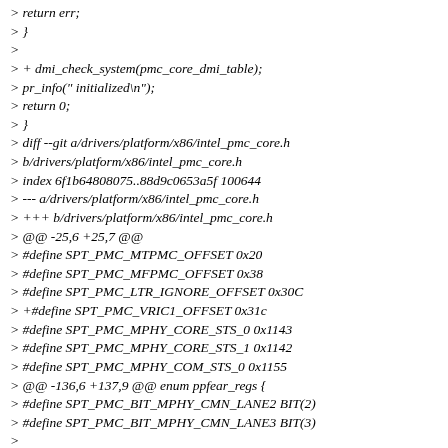> return err;
> }
>
> + dmi_check_system(pmc_core_dmi_table);
> pr_info(" initialized\n");
> return 0;
> }
> diff --git a/drivers/platform/x86/intel_pmc_core.h
> b/drivers/platform/x86/intel_pmc_core.h
> index 6f1b64808075..88d9c0653a5f 100644
> --- a/drivers/platform/x86/intel_pmc_core.h
> +++ b/drivers/platform/x86/intel_pmc_core.h
> @@ -25,6 +25,7 @@
> #define SPT_PMC_MTPMC_OFFSET 0x20
> #define SPT_PMC_MFPMC_OFFSET 0x38
> #define SPT_PMC_LTR_IGNORE_OFFSET 0x30C
> +#define SPT_PMC_VRIC1_OFFSET 0x31c
> #define SPT_PMC_MPHY_CORE_STS_0 0x1143
> #define SPT_PMC_MPHY_CORE_STS_1 0x1142
> #define SPT_PMC_MPHY_COM_STS_0 0x1155
> @@ -136,6 +137,9 @@ enum ppfear_regs {
> #define SPT_PMC_BIT_MPHY_CMN_LANE2 BIT(2)
> #define SPT_PMC_BIT_MPHY_CMN_LANE3 BIT(3)
>
> +#define SPT_PMC_VRIC1_SLPS0LVEN BIT(13)